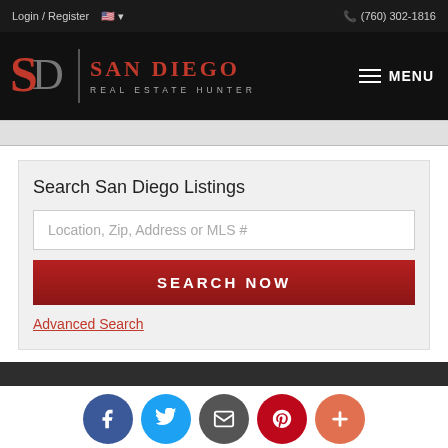Login / Register   (760) 302-1816
[Figure (logo): San Diego Real Estate Hunter logo with red SD monogram on black background, MENU button on right]
Search San Diego Listings
Location, Zip, Address or MLS #
SEARCH NOW
Advanced Search
[Figure (infographic): Social media icon buttons row: Facebook (blue), Twitter (light blue), Email (gray), Pinterest (red), Plus/More (orange-red)]